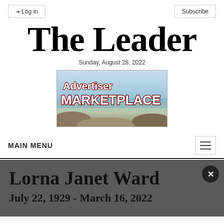Log in | Subscribe
The Leader
Sunday, August 28, 2022
[Figure (illustration): Advertiser Marketplace advertisement banner with red text on a coastal landscape background]
MAIN MENU
Lorna Janet Ward
July 22, 1929 - March 16, 2022